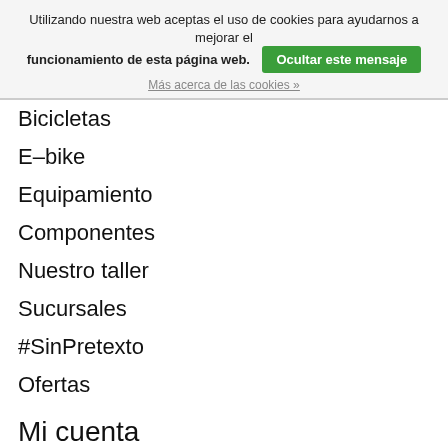Utilizando nuestra web aceptas el uso de cookies para ayudarnos a mejorar el funcionamiento de esta página web. [Ocultar este mensaje]
Más acerca de las cookies »
Bicicletas
E-bike
Equipamiento
Componentes
Nuestro taller
Sucursales
#SinPretexto
Ofertas
Mi cuenta
Registrarse
Mis pedidos
Información